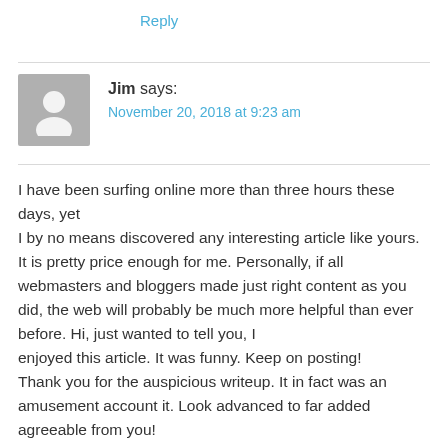Reply
Jim says:
November 20, 2018 at 9:23 am
I have been surfing online more than three hours these days, yet
I by no means discovered any interesting article like yours. It is pretty price enough for me. Personally, if all webmasters and bloggers made just right content as you did, the web will probably be much more helpful than ever before. Hi, just wanted to tell you, I enjoyed this article. It was funny. Keep on posting!
Thank you for the auspicious writeup. It in fact was an amusement account it. Look advanced to far added agreeable from you!